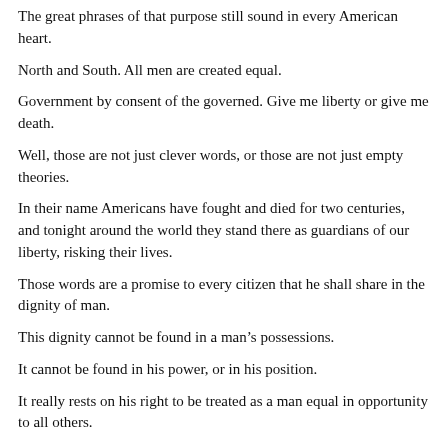The great phrases of that purpose still sound in every American heart.
North and South. All men are created equal.
Government by consent of the governed. Give me liberty or give me death.
Well, those are not just clever words, or those are not just empty theories.
In their name Americans have fought and died for two centuries, and tonight around the world they stand there as guardians of our liberty, risking their lives.
Those words are a promise to every citizen that he shall share in the dignity of man.
This dignity cannot be found in a man’s possessions.
It cannot be found in his power, or in his position.
It really rests on his right to be treated as a man equal in opportunity to all others.